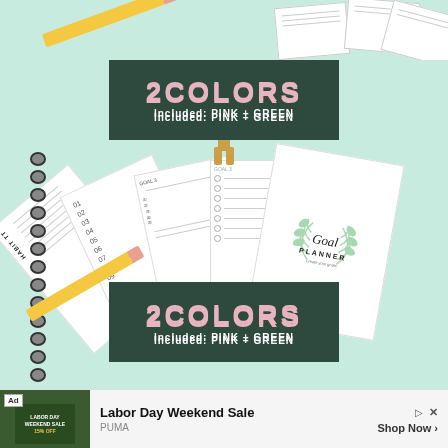[Figure (photo): Product mockup showing a Goal Planner with multiple pages fanned out on a mint green background. Two dark green signs display '2COLORS Included: PINK + GREEN'. Multiple planner worksheet pages are shown including a habit tracker and numbered list pages. A spiral notebook and pencil are visible. Bottom shows an advertisement banner for PUMA Labor Day Weekend Sale.]
2COLORS
Included: PINK + GREEN
2COLORS
Included: PINK + GREEN
Goal PLANNER
Ad  Labor Day Weekend Sale  ▷  ×  PUMA  Shop Now ›